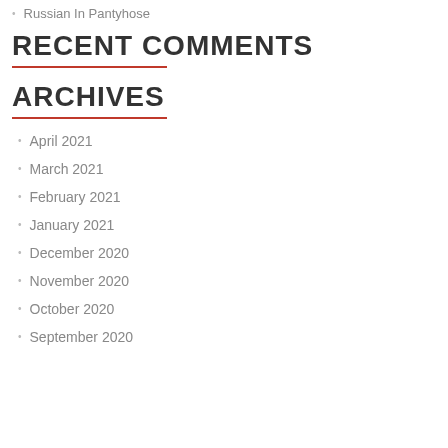Russian In Pantyhose
RECENT COMMENTS
ARCHIVES
April 2021
March 2021
February 2021
January 2021
December 2020
November 2020
October 2020
September 2020